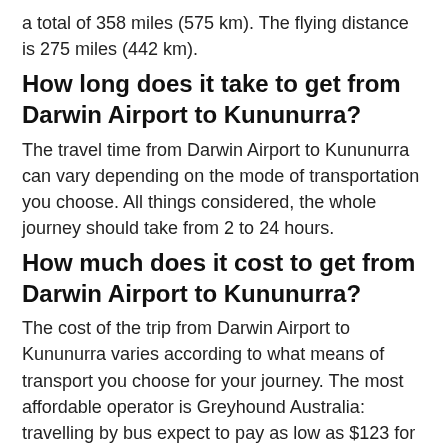a total of 358 miles (575 km). The flying distance is 275 miles (442 km).
How long does it take to get from Darwin Airport to Kununurra?
The travel time from Darwin Airport to Kununurra can vary depending on the mode of transportation you choose. All things considered, the whole journey should take from 2 to 24 hours.
How much does it cost to get from Darwin Airport to Kununurra?
The cost of the trip from Darwin Airport to Kununurra varies according to what means of transport you choose for your journey. The most affordable operator is Greyhound Australia: travelling by bus expect to pay as low as $123 for your ticket.
However, if you're after more upscale travel . The most expensive variant is to opt for a flight - a one-way flight